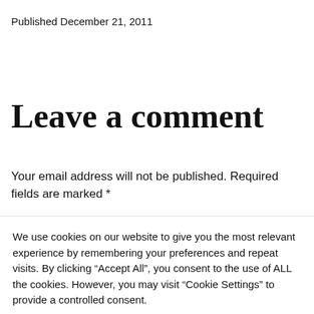Published December 21, 2011
Leave a comment
Your email address will not be published. Required fields are marked *
We use cookies on our website to give you the most relevant experience by remembering your preferences and repeat visits. By clicking “Accept All”, you consent to the use of ALL the cookies. However, you may visit "Cookie Settings" to provide a controlled consent.